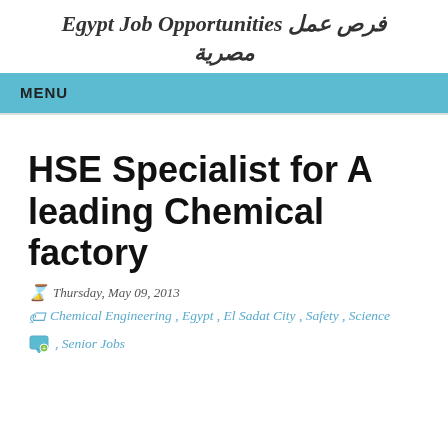Egypt Job Opportunities فرص عمل مصرية
MENU
HSE Specialist for A leading Chemical factory
Thursday, May 09, 2013
Chemical Engineering , Egypt , El Sadat City , Safety , Science , Senior Jobs